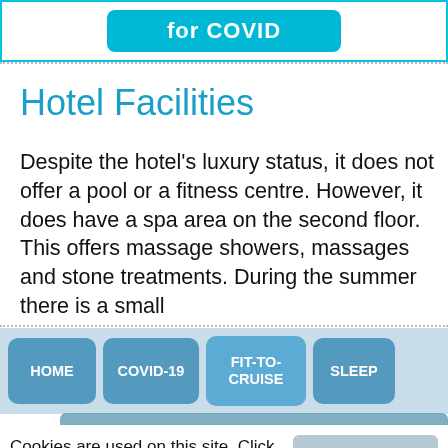[Figure (screenshot): Top bar with a cyan/teal button partially visible showing 'for COVID']
Hotel Facilities
Despite the hotel's luxury status, it does not offer a pool or a fitness centre. However, it does have a spa area on the second floor. This offers massage showers, massages and stone treatments. During the summer there is a small
[Figure (screenshot): Navigation bar with buttons: HOME, COVID-19, FIT-TO-CRUISE, SLEEP on a light blue background]
Cookies are used on this site. Click "Accept All" if you're okay with this, or click "Manage" to set cookie preferences.
[Figure (screenshot): Cookie consent buttons: Manage Cookies (grey) and Accept All (dark navy blue)]